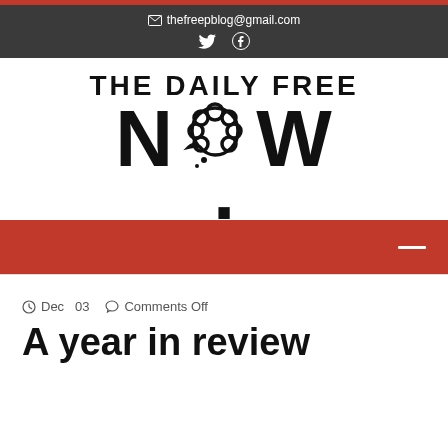thefreepblog@gmail.com
[Figure (logo): The Daily Free Now logo with large bold text and a speech bubble replacing the O in NOW]
[Figure (other): Red navigation bar with hamburger menu icon on the right]
Dec 03  Comments Off
A year in review